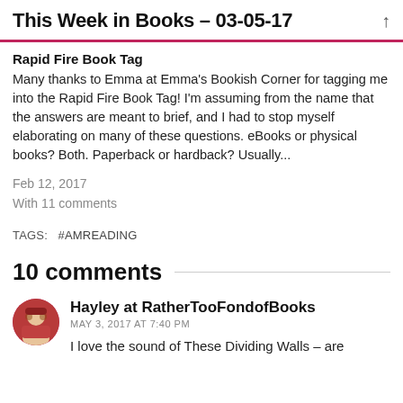This Week in Books – 03-05-17
Rapid Fire Book Tag
Many thanks to Emma at Emma's Bookish Corner for tagging me into the Rapid Fire Book Tag! I'm assuming from the name that the answers are meant to brief, and I had to stop myself elaborating on many of these questions. eBooks or physical books? Both. Paperback or hardback? Usually...
Feb 12, 2017
With 11 comments
TAGS:   #AMREADING
10 comments
Hayley at RatherTooFondofBooks
MAY 3, 2017 AT 7:40 PM
I love the sound of These Dividing Walls – are